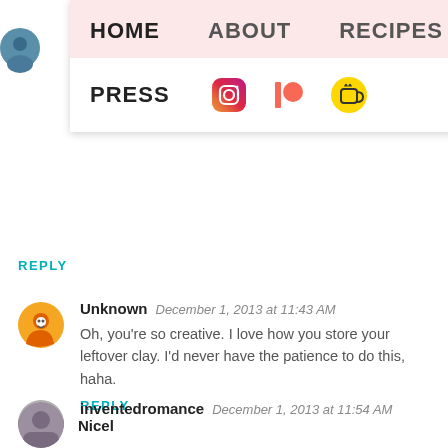[Figure (screenshot): Blog navigation dropdown menu with HOME (highlighted), ABOUT, RECIPES, TRAVEL on first row; PRESS, Instagram icon, Patreon icon, Buy Me a Coffee icon on second row.]
REPLY
Unknown  December 1, 2013 at 11:43 AM
Oh, you're so creative. I love how you store your leftover clay. I'd never have the patience to do this, haha.
REPLY
inventedromance  December 1, 2013 at 11:54 AM
This is so cute! Thanks for the tips :)
xo www.inventedromance.blogspot.ca
REPLY
Nicel